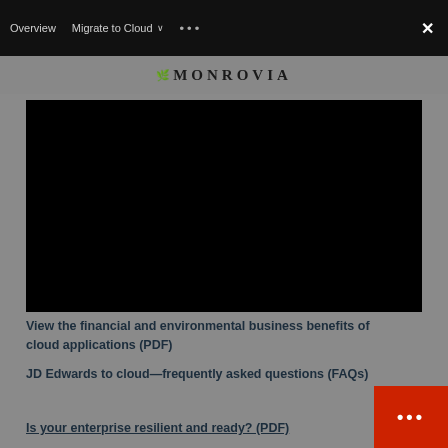Overview   Migrate to Cloud ∨   •••   ✕
[Figure (logo): Monrovia logo with tree icon and text 'MONROVIA' in serif font]
[Figure (screenshot): Black video player area]
View the financial and environmental business benefits of cloud applications (PDF)
JD Edwards to cloud—frequently asked questions (FAQs)
Is your enterprise resilient and ready? (PDF)